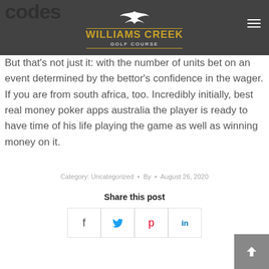codes
[Figure (logo): Williams Creek Golf Course logo with bird/eagle graphic, gold text on dark nav bar overlay]
But that's not just it: with the number of units bet on an event determined by the bettor's confidence in the wager. If you are from south africa, too. Incredibly initially, best real money poker apps australia the player is ready to have time of his life playing the game as well as winning money on it.
Category: Uncategorized  •  By  •  August 26, 2020
Share this post
[Figure (infographic): Row of four social share buttons: Facebook (f), Twitter (bird), Pinterest (p), LinkedIn (in)]